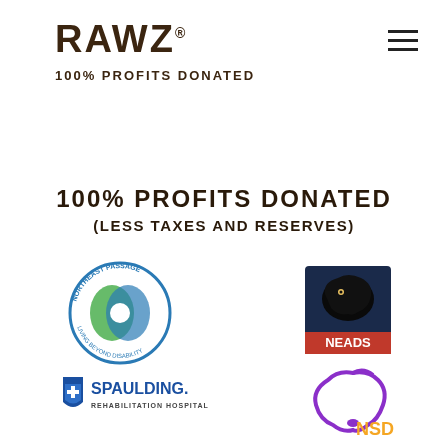[Figure (logo): RAWZ brand logo in dark brown bold uppercase letters with trademark symbol]
100% PROFITS DONATED
[Figure (other): Hamburger menu icon (three horizontal lines)]
100% PROFITS DONATED
(LESS TAXES AND RESERVES)
[Figure (logo): Northeast Passage circular logo — going beyond disability]
[Figure (logo): NEADS logo — black labrador dog silhouette on dark background with text NEADS]
[Figure (logo): Spaulding Rehabilitation Hospital logo with blue shield and cross icon]
[Figure (logo): NSD National Service Dogs logo — purple dog outline with NSD text in orange]